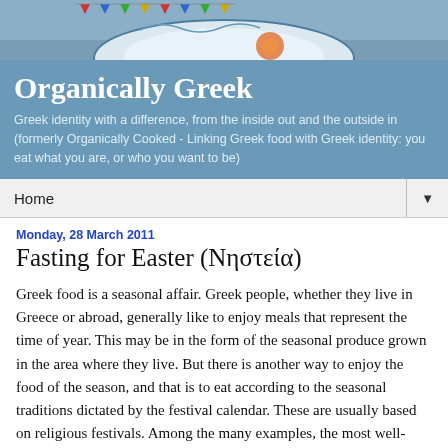[Figure (photo): Header photo of a decorative Greek plate or dish on a blue/grey outdoor background]
Organically Greek
Greek identity with a difference, from the inside out and the outside in (formerly Organically Cooked - Linking Greek food with Greek identity: you eat what you are, or who you want to be)
Home ▼
Monday, 28 March 2011
Fasting for Easter (Νηστεία)
Greek food is a seasonal affair. Greek people, whether they live in Greece or abroad, generally like to enjoy meals that represent the time of year. This may be in the form of the seasonal produce grown in the area where they live. But there is another way to enjoy the food of the season, and that is to eat according to the seasonal traditions dictated by the festival calendar. These are usually based on religious festivals. Among the many examples, the most well-known are salt cod on March 25 and Palm Sunday